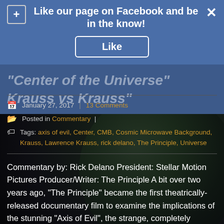[Figure (screenshot): Facebook 'Like our page' overlay banner with blue background, plus icon top left, X close icon top right, and a Like button centered below the heading text.]
"Center of the Universe" Krauss vs Krauss
January 27, 2017 | 13 Comments
Posted in Commentary |
Tags: axis of evil, Center, CMB, Cosmic Microwave Background, Krauss, Lawrence Krauss, rick delano, The Principle, Universe
Commentary by: Rick Delano President: Stellar Motion Pictures Producer/Writer: The Principle A bit over two years ago, “The Principle” became the first theatrically-released documentary film to examine the implications of the stunning “Axis of Evil”, the strange, completely counter- predicted series of alignments between the largest structure in the entire visible universe, the Cosmic Microwave Background (CMB), and the distinctly sub-